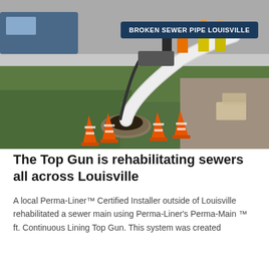[Figure (photo): Outdoor photo of a sewer repair/rehabilitation site in Louisville. Orange traffic cones are placed around an open manhole in a grassy area. A large white flexible pipe (liner) curves up from the manhole. Workers in safety vests and helmets stand in the background near equipment. A label badge reads 'BROKEN SEWER PIPE LOUISVILLE' in the upper right of the image.]
The Top Gun is rehabilitating sewers all across Louisville
A local Perma-Liner™ Certified Installer outside of Louisville rehabilitated a sewer main using Perma-Liner's Perma-Main ™ ft. Continuous Lining Top Gun. This system was created